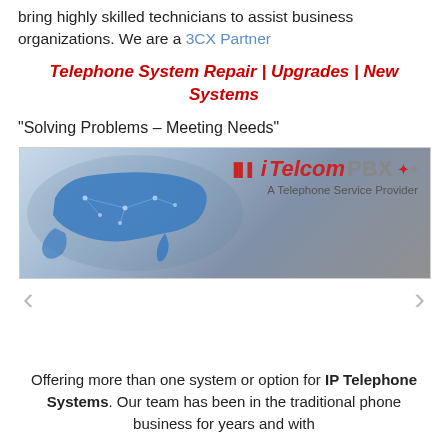bring highly skilled technicians to assist business organizations. We are a 3CX Partner
Telephone System Repair | Upgrades | New Systems
“Solving Problems – Meeting Needs”
[Figure (logo): iTelcom PBX banner with blue US map silhouette on grey background, text reads 'iTelcom PBX - A Telephone Service Provider']
Offering more than one system or option for IP Telephone Systems. Our team has been in the traditional phone business for years and with